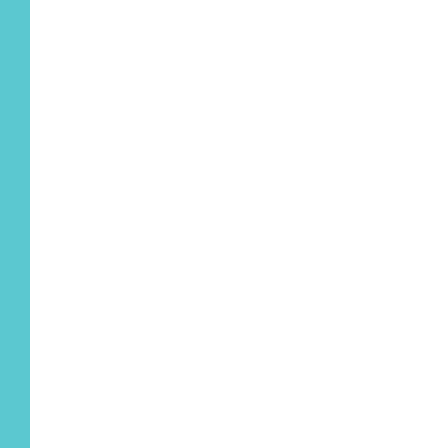liability. So we ask 12 laypeople to decide whether the negligence caused the pa
Here is the heart of the med technical nature of medical indeed asking the ignorant t
How else could we resolve doctor's co-specialists? If y rest with a group of stockbro me, such outliers do exist) w doctors sharing the defenda people in the same business
Well, wouldn't a judge be at Speaking frankly, and from evidence the parties want to however impartial and intell
Thus we are left with a deep works because juries genera saying that I usually agreed
Still, I too wish we could de litigation. Perhaps the devil Churchill once remarked in democracy is the worst form from time to time."
From the Bar